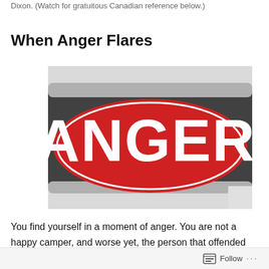Dixon. (Watch for gratuitous Canadian reference below.)
When Anger Flares
[Figure (photo): Close-up photograph of a red and white ANGER sign with large bold white letters reading 'ANGER' on a red oval background with a dark border.]
You find yourself in a moment of anger. You are not a happy camper, and worse yet, the person that offended you is either oblivious to your hurt, or doesn't care. And to
Follow